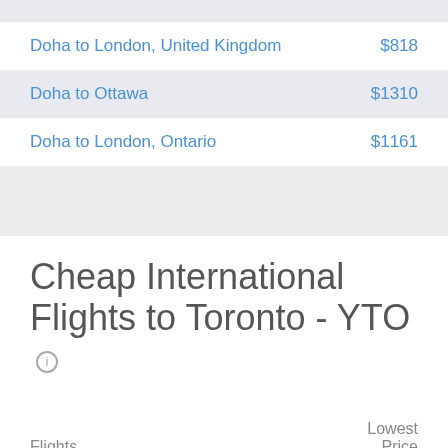Doha to London, United Kingdom   $818
Doha to Ottawa   $1310
Doha to London, Ontario   $1161
Cheap International Flights to Toronto - YTO
| Flights | Lowest Price |
| --- | --- |